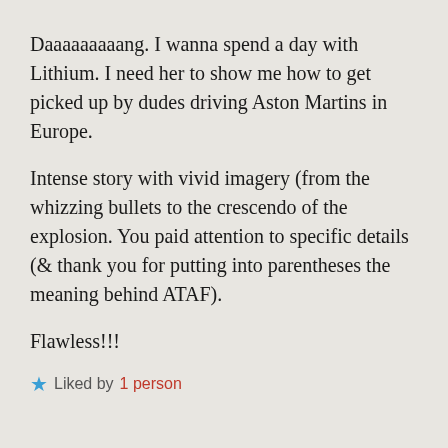Daaaaaaaaang. I wanna spend a day with Lithium. I need her to show me how to get picked up by dudes driving Aston Martins in Europe.
Intense story with vivid imagery (from the whizzing bullets to the crescendo of the explosion. You paid attention to specific details (& thank you for putting into parentheses the meaning behind ATAF).
Flawless!!!
★ Liked by 1 person